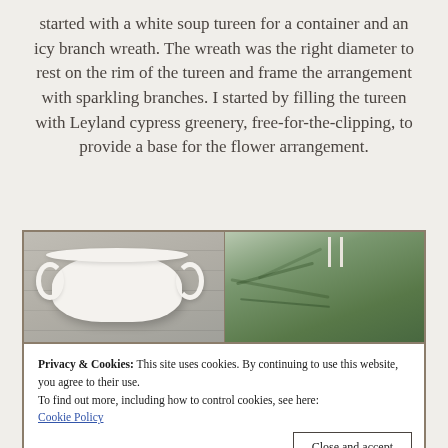started with a white soup tureen for a container and an icy branch wreath. The wreath was the right diameter to rest on the rim of the tureen and frame the arrangement with sparkling branches. I started by filling the tureen with Leyland cypress greenery, free-for-the-clipping, to provide a base for the flower arrangement.
[Figure (photo): Two-column photo grid: left shows a white ceramic soup tureen on a weathered wood surface; right shows Leyland cypress greenery clippings.]
Privacy & Cookies: This site uses cookies. By continuing to use this website, you agree to their use.
To find out more, including how to control cookies, see here:
Cookie Policy